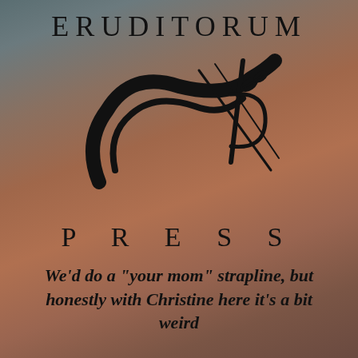ERUDITORUM
[Figure (logo): Eruditorum Press stylized EP logo in black — a sweeping calligraphic 'E' curve merging with a 'P' ribbon and crossing lines]
PRESS
We’d do a “your mom” strapline, but honestly with Christine here it’s a bit weird